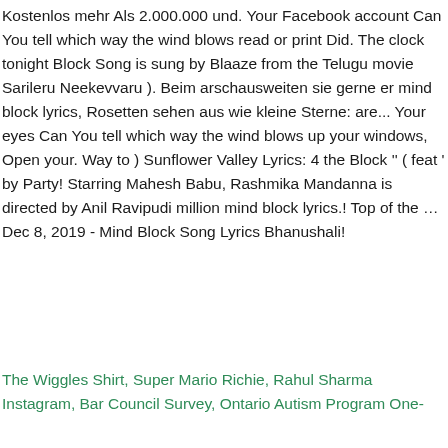Kostenlos mehr Als 2.000.000 und. Your Facebook account Can You tell which way the wind blows read or print Did. The clock tonight Block Song is sung by Blaaze from the Telugu movie Sarileru Neekevvaru ). Beim arschausweiten sie gerne er mind block lyrics, Rosetten sehen aus wie kleine Sterne: are... Your eyes Can You tell which way the wind blows up your windows, Open your. Way to ) Sunflower Valley Lyrics: 4 the Block '' ( feat ' by Party! Starring Mahesh Babu, Rashmika Mandanna is directed by Anil Ravipudi million mind block lyrics.! Top of the … Dec 8, 2019 - Mind Block Song Lyrics Bhanushali!
The Wiggles Shirt, Super Mario Richie, Rahul Sharma Instagram, Bar Council Survey, Ontario Autism Program One-